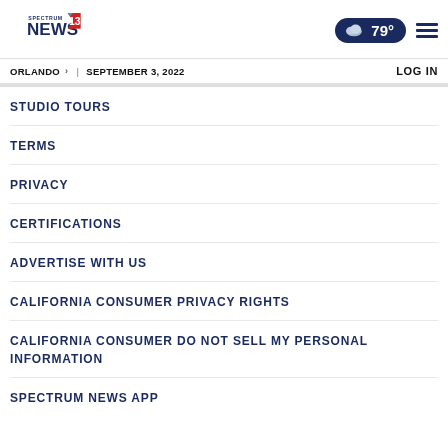Spectrum News 13 | ORLANDO | SEPTEMBER 3, 2022 | 79° | LOG IN
STUDIO TOURS
TERMS
PRIVACY
CERTIFICATIONS
ADVERTISE WITH US
CALIFORNIA CONSUMER PRIVACY RIGHTS
CALIFORNIA CONSUMER DO NOT SELL MY PERSONAL INFORMATION
SPECTRUM NEWS APP